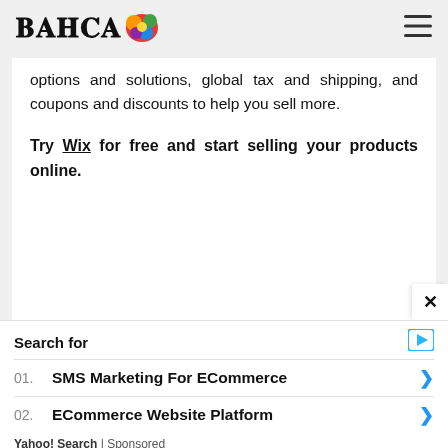BAHIA [logo with colorful blob]
options and solutions, global tax and shipping, and coupons and discounts to help you sell more.
Try Wix for free and start selling your products online.
Search for
01. SMS Marketing For ECommerce
02. ECommerce Website Platform
Yahoo! Search | Sponsored